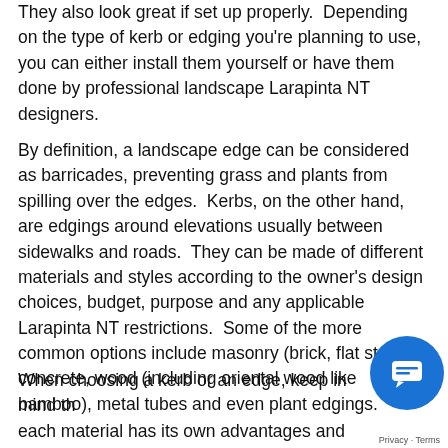They also look great if set up properly.  Depending on the type of kerb or edging you're planning to use, you can either install them yourself or have them done by professional landscape Larapinta NT designers.
By definition, a landscape edge can be considered as barricades, preventing grass and plants from spilling over the edges.  Kerbs, on the other hand, are edgings around elevations usually between sidewalks and roads.  They can be made of different materials and styles according to the owner's design choices, budget, purpose and any applicable Larapinta NT restrictions.  Some of the more common options include masonry (brick, flat stones) concrete, wood (including oriental wood like bamboo), metal tubes and even plant edgings.
When choosing a kerb or an edge, keep in mind that each material has its own advantages and disadvantages over the others, be it function,